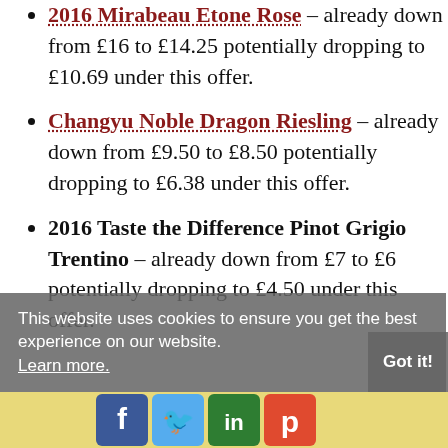2016 Mirabeau Etone Rose – already down from £16 to £14.25 potentially dropping to £10.69 under this offer.
Changyu Noble Dragon Riesling – already down from £9.50 to £8.50 potentially dropping to £6.38 under this offer.
2016 Taste the Difference Pinot Grigio Trentino – already down from £7 to £6 potentially dropping to £4.50 under this offer.
This website uses cookies to ensure you get the best experience on our website. Learn more. Got it!